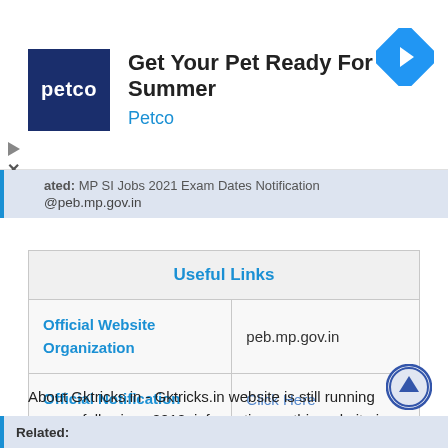[Figure (screenshot): Petco advertisement banner with logo, text 'Get Your Pet Ready For Summer', 'Petco', and a navigation arrow icon on the right]
ated: MP SI Jobs 2021 Exam Dates Notification @peb.mp.gov.in
| Useful Links |  |
| --- | --- |
| Official Website Organization | peb.mp.gov.in |
| Official Notification | Click Here |
About Gktricks.in - Gktricks.in website is still running successfully since 2010. information on this website is provided throughout India government jobs. This is not official website.
Related: